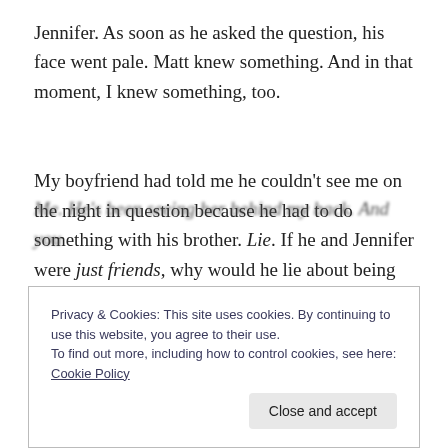Jennifer. As soon as he asked the question, his face went pale. Matt knew something. And in that moment, I knew something, too.
My boyfriend had told me he couldn't see me on the night in question because he had to do something with his brother. Lie. If he and Jennifer were just friends, why would he lie about being with her?
Me. He's been seeing her behind my back. And you
Privacy & Cookies: This site uses cookies. By continuing to use this website, you agree to their use.
To find out more, including how to control cookies, see here: Cookie Policy